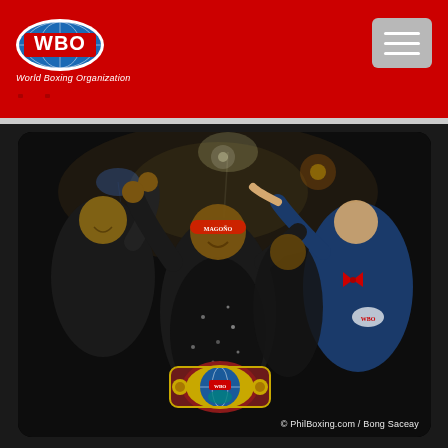WBO World Boxing Organization
[Figure (photo): Boxing victory celebration: A boxer wearing a headband and black sequined shorts stands in the center holding a WBO championship belt, arms raised in victory. He is flanked by corner men and a referee in a blue shirt with a bow tie. The setting is a dark arena with spotlights.]
© PhilBoxing.com / Bong Saceay